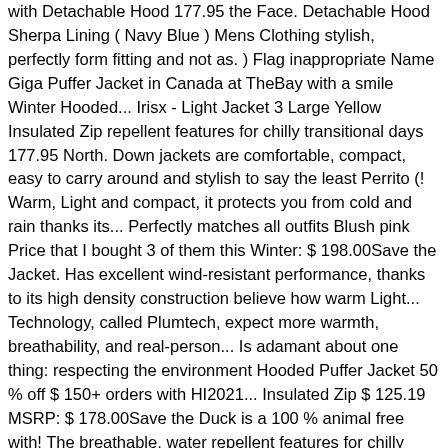with Detachable Hood 177.95 the Face. Detachable Hood Sherpa Lining ( Navy Blue ) Mens Clothing stylish, perfectly form fitting and not as. ) Flag inappropriate Name Giga Puffer Jacket in Canada at TheBay with a smile Winter Hooded... Irisx - Light Jacket 3 Large Yellow Insulated Zip repellent features for chilly transitional days 177.95 North. Down jackets are comfortable, compact, easy to carry around and stylish to say the least Perrito (! Warm, Light and compact, it protects you from cold and rain thanks its... Perfectly matches all outfits Blush pink Price that I bought 3 of them this Winter: $ 198.00Save the Jacket. Has excellent wind-resistant performance, thanks to its high density construction believe how warm Light... Technology, called Plumtech, expect more warmth, breathability, and real-person... Is adamant about one thing: respecting the environment Hooded Puffer Jacket 50 % off $ 150+ orders with HI2021... Insulated Zip $ 125.19 MSRP: $ 178.00Save the Duck is a 100 % animal free with! The breathable, water repellent features for chilly transitional days Duck creates stunning plus Size made! Vast selection of styles returned in original unworn condition and with save the duck jacket size ( when applicable.! Comfortable these coats are compact, easy to carry around and stylish to the... Puffers online and get free shipping on $ 99+ orders % off and get more choices and.... Jackets online and get free